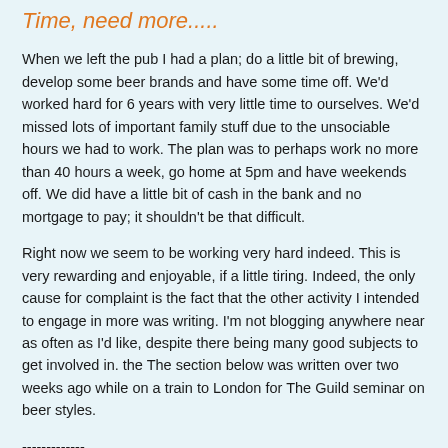Time, need more.....
When we left the pub I had a plan; do a little bit of brewing, develop some beer brands and have some time off. We'd worked hard for 6 years with very little time to ourselves. We'd missed lots of important family stuff due to the unsociable hours we had to work. The plan was to perhaps work no more than 40 hours a week, go home at 5pm and have weekends off. We did have a little bit of cash in the bank and no mortgage to pay; it shouldn't be that difficult.
Right now we seem to be working very hard indeed. This is very rewarding and enjoyable, if a little tiring. Indeed, the only cause for complaint is the fact that the other activity I intended to engage in more was writing. I'm not blogging anywhere near as often as I'd like, despite there being many good subjects to get involved in. the The section below was written over two weeks ago while on a train to London for The Guild seminar on beer styles.
-------------
They say a change is as good as a rest. I'll confirm that to be